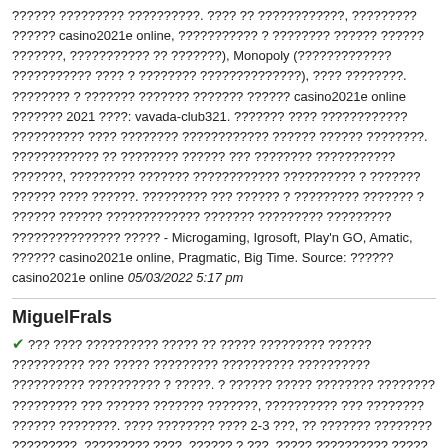?????? ????????? ??????????. ???? ?? ????????????, ????????? ?????? casino2021e online, ??????????? ? ???????? ?????? ?????? ???????, ??????????? ?? ???????), Monopoly (????????????? ??????????? ???? ? ???????? ??????????????), ???? ????????. ???????? ? ??????? ??????? ??????? ?????? casino2021e online ??????? 2021 ????: vavada-club321. ??????? ???? ???????????? ?????????? ???? ???????? ???????????? ?????? ?????? ????????. ???????????? ?? ???????? ?????? ??? ???????? ??????????? ???????, ????????? ??????? ???????????? ?????????? ? ??????? ?????? ???? ??????. ????????? ??? ?????? ? ????????? ??????? ? ?????? ?????? ????????????? ??????? ????????? ????????? ??????????????? ????? - Microgaming, Igrosoft, Play'n GO, Amatic, ?????? casino2021e online, Pragmatic, Big Time. Source: ?????? casino2021e online 05/03/2022 5:17 pm
MiguelFrals
??? ???? ?????????? ????? ?? ????? ????????? ?????? ?????????? ??? ????? ????????? ?????????? ?????????? ?????????? ?????????? ? ?????. ? ?????? ????? ???????? ???????? ????????? ??? ?????? ??????? ???????, ?????????? ??? ???????? ?????? ????????. ???? ???????? ???? 2-3 ???, ?? ??????? ???????? ?????????, ????????? ????, ?????? ? ???. ????? ?????????? ????? ? ???? ?????????? ????? ??????????? ??????????, ?????????? ???????????, ?????????? ? ??????. ???? ?? ???????????? ???? 2-3 ?????? ? ????? ????? ????? ???????, ????? ??????????? «????? ????????». ??? ???